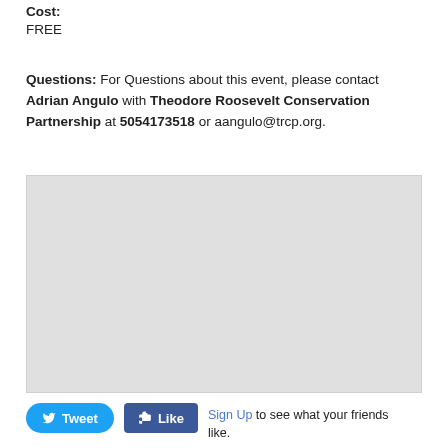Cost:
FREE
Questions: For Questions about this event, please contact Adrian Angulo with Theodore Roosevelt Conservation Partnership at 5054173518 or aangulo@trcp.org.
[Figure (map): A blank/loading grey map area embedded in a webpage]
[Figure (other): Social sharing buttons: Tweet (Twitter) and Like (Facebook) with Sign Up link and 'to see what your friends like.' text]